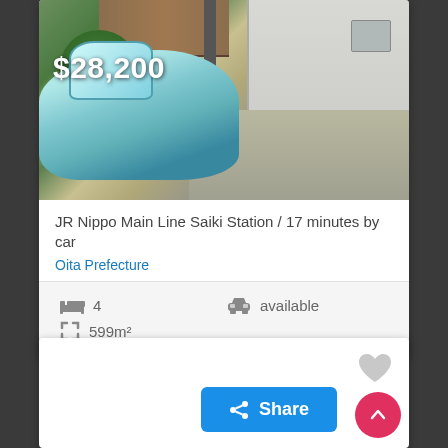[Figure (photo): Exterior photo of a Japanese house with a light blue car in the foreground and garden/driveway visible]
$28,200
JR Nippo Main Line Saiki Station / 17 minutes by car
Oita Prefecture
4 bedrooms, 599m², parking available
[Figure (other): Heart icon (favorite/save button)]
Share